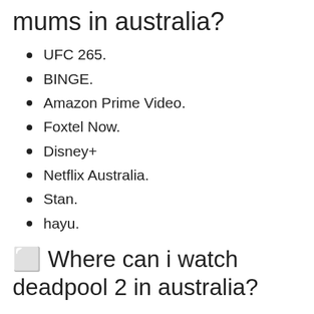mums in australia?
UFC 265.
BINGE.
Amazon Prime Video.
Foxtel Now.
Disney+
Netflix Australia.
Stan.
hayu.
🔲 Where can i watch deadpool 2 in australia?